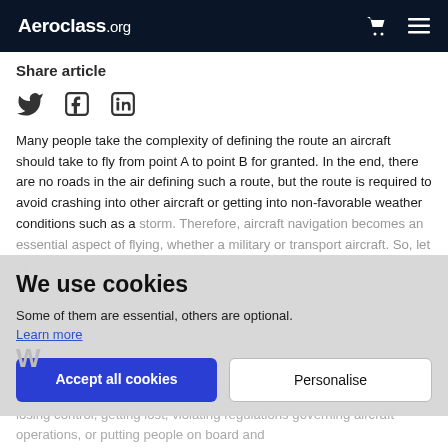Aeroclass.org
Share article
[Figure (other): Social media share icons: Twitter bird, Facebook F, LinkedIn in]
Many people take the complexity of defining the route an aircraft should take to fly from point A to point B for granted. In the end, there are no roads in the air defining such a route, but the route is required to avoid crashing into other aircraft or getting into non-favorable weather conditions such as a storm. Therefore, aircraft navigation becomes an essential aspect of flying, whether a military or transport aircraft. So, let us
We use cookies
Some of them are essential, others are optional.
Learn more
Accept all cookies   Personalise
Aircraft navigation is the process of directing an aircraft while never losing control, getting lost, violating regulations governing aircraft operations, or putting people on board and